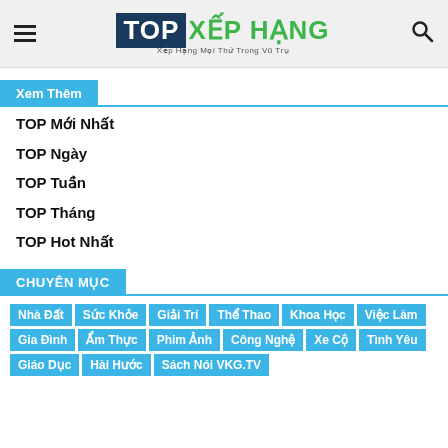[Figure (logo): TOP XEP HANG logo with hamburger menu and search icon in header]
Xem Thêm
TOP Mới Nhất
TOP Ngày
TOP Tuần
TOP Tháng
TOP Hot Nhất
CHUYÊN MỤC
Nhà Đất Sức Khỏe Giải Trí Thể Thao Khoa Học Việc Làm Gia Đình Ẩm Thực Phim Ảnh Công Nghệ Xe Cộ Tình Yêu Giáo Dục Hài Hước Sách Nói VKG.TV